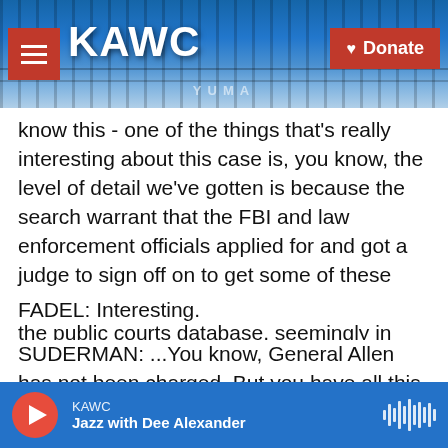KAWC — Donate
know this - one of the things that's really interesting about this case is, you know, the level of detail we've gotten is because the search warrant that the FBI and law enforcement officials applied for and got a judge to sign off on to get some of these records was posted online on, you know, the public courts database, seemingly in error, because when we asked prosecutors about it, it immediately disappeared. So...
FADEL: Interesting.
SUDERMAN: ...You know, General Allen has not been charged. But you have all this super specific
KAWC — Jazz with Dee Alexander